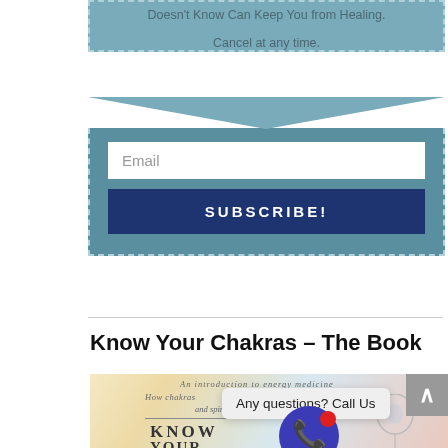Doesn't Know Can Keep You from Healing.
Cancel at any time.
Email
SUBSCRIBE!
Know Your Chakras – The Book
[Figure (screenshot): Book cover for 'Know Your Chakras' showing an introduction to energy medicine with text about how chakras affect physical and spiritual health, with a decorative head/figure illustration.]
Any questions? Call Us